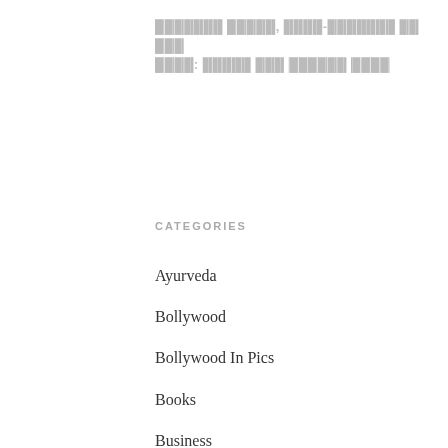[Redacted title in non-Latin script, two lines]
CATEGORIES
Ayurveda
Bollywood
Bollywood In Pics
Books
Business
Commodities & Energy
Education
Entertainment
Fashion